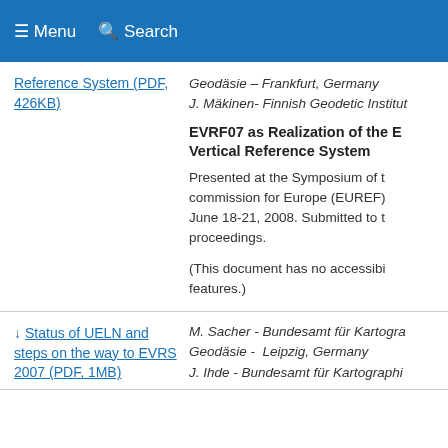Menu  Search
Reference System (PDF, 426KB)
Geodäsie – Frankfurt, Germany
J. Mäkinen- Finnish Geodetic Institut
EVRF07 as Realization of the European Vertical Reference System
Presented at the Symposium of the sub-commission for Europe (EUREF) June 18-21, 2008. Submitted to the proceedings.
(This document has no accessibility features.)
↓ Status of UELN and steps on the way to EVRS 2007 (PDF, 1MB)
M. Sacher - Bundesamt für Kartographie und Geodäsie -  Leipzig, Germany
J. Ihde - Bundesamt für Kartographie